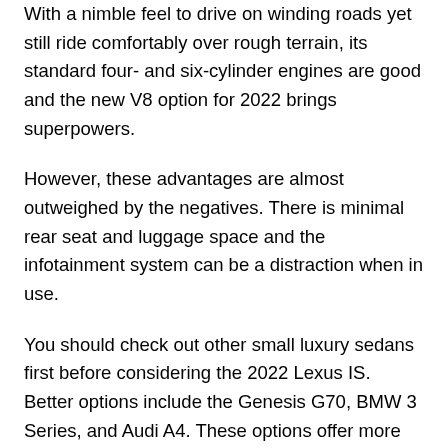With a nimble feel to drive on winding roads yet still ride comfortably over rough terrain, its standard four- and six-cylinder engines are good and the new V8 option for 2022 brings superpowers.
However, these advantages are almost outweighed by the negatives. There is minimal rear seat and luggage space and the infotainment system can be a distraction when in use.
You should check out other small luxury sedans first before considering the 2022 Lexus IS. Better options include the Genesis G70, BMW 3 Series, and Audi A4. These options offer more passenger